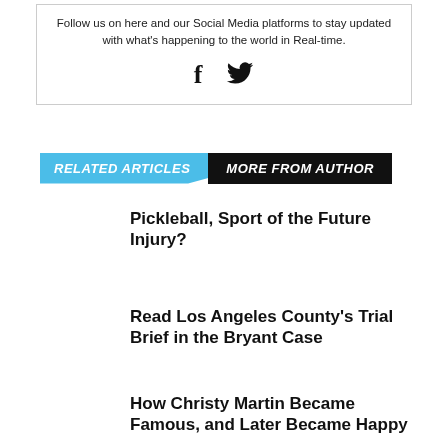Follow us on here and our Social Media platforms to stay updated with what's happening to the world in Real-time.
[Figure (illustration): Facebook 'f' icon and Twitter bird icon]
RELATED ARTICLES  MORE FROM AUTHOR
Pickleball, Sport of the Future Injury?
Read Los Angeles County's Trial Brief in the Bryant Case
How Christy Martin Became Famous, and Later Became Happy